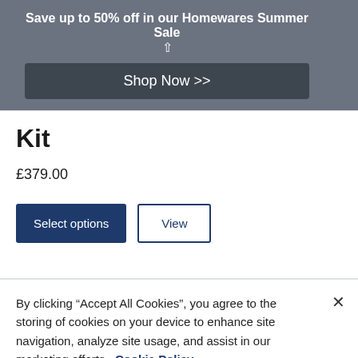Save up to 50% off in our Homewares Summer Sale
Shop Now >>
Kit
£379.00
Select options | View
By clicking “Accept All Cookies”, you agree to the storing of cookies on your device to enhance site navigation, analyze site usage, and assist in our marketing efforts. Cookie Policy
Cookies Settings | Accept All Cookies